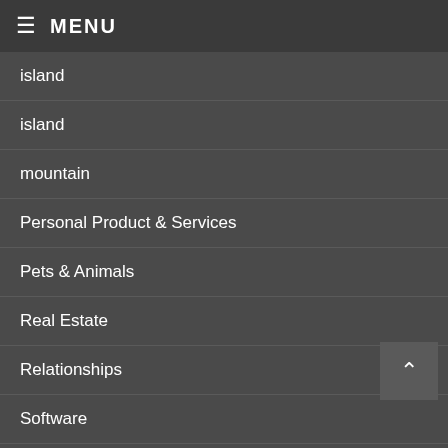MENU
island
island
mountain
Personal Product & Services
Pets & Animals
Real Estate
Relationships
Software
Sports & Athletics
Technology